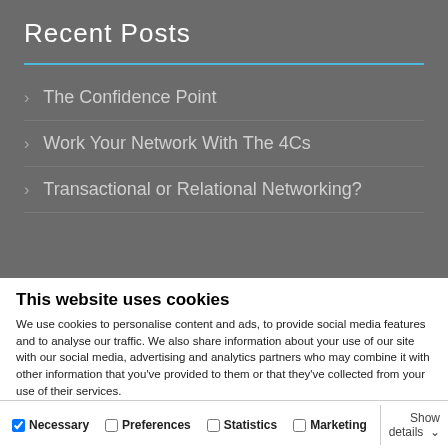Recent Posts
The Confidence Point
Work Your Network With The 4Cs
Transactional or Relational Networking?
This website uses cookies
We use cookies to personalise content and ads, to provide social media features and to analyse our traffic. We also share information about your use of our site with our social media, advertising and analytics partners who may combine it with other information that you've provided to them or that they've collected from your use of their services.
Deny | Allow selection | Allow all
Necessary  Preferences  Statistics  Marketing  Show details